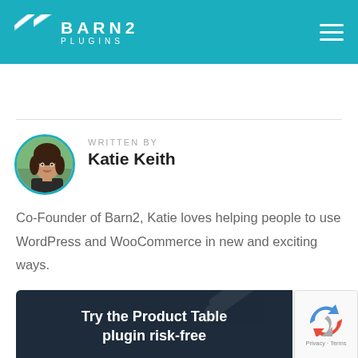BARN2 PLUGINS
[Figure (photo): Circular profile photo of Katie Keith, Co-Founder of Barn2 Plugins, with teal border]
WRITTEN BY
Katie Keith
Co-Founder of Barn2, Katie loves helping people to use WordPress and WooCommerce in new and exciting ways.
Try the Product Table plugin risk-free